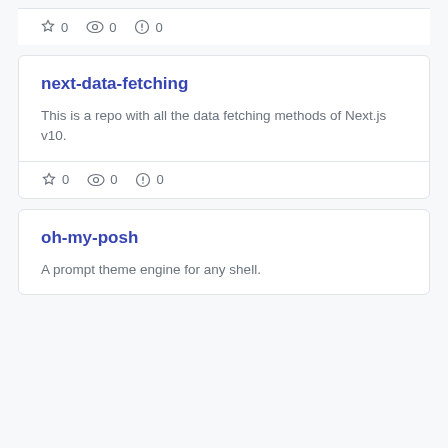☆ 0  👁 0  ⓘ 0
next-data-fetching
This is a repo with all the data fetching methods of Next.js v10.
☆ 0  👁 0  ⓘ 0
oh-my-posh
A prompt theme engine for any shell.